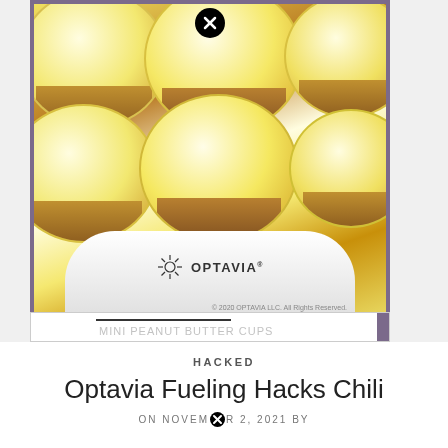[Figure (photo): Photo of mini cheesecake cupcakes with golden/orange topping on a white cake stand with OPTAVIA logo branding. A close (X) button appears at the top center of the image overlay.]
MINI PEANUT BUTTER CUPS (partially visible at bottom of card)
HACKED
Optavia Fueling Hacks Chili
ON NOVEMBER 2, 2021 BY